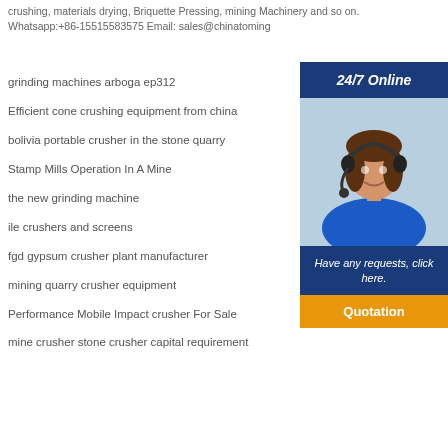crushing, materials drying, Briquette Pressing, mining Machinery and so on. Whatsapp:+86-15515583575 Email: sales@chinatoming
grinding machines arboga ep312
Efficient cone crushing equipment from china
bolivia portable crusher in the stone quarry
Stamp Mills Operation In A Mine
the new grinding machine
ile crushers and screens
fgd gypsum crusher plant manufacturer
mining quarry crusher equipment
Performance Mobile Impact crusher For Sale
mine crusher stone crusher capital requirement
[Figure (illustration): 24/7 Online customer service sidebar with photo of woman wearing headset, 'Have any requests, click here.' message, and Quotation button]